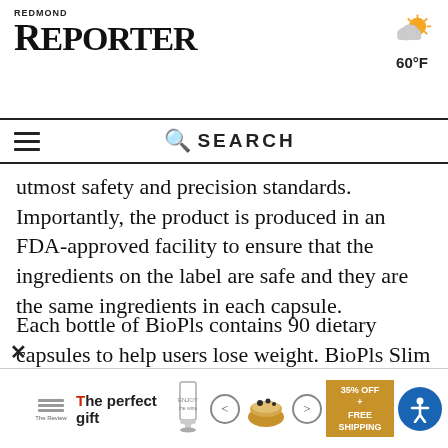REDMOND REPORTER
utmost safety and precision standards. Importantly, the product is produced in an FDA-approved facility to ensure that the ingredients on the label are safe and they are the same ingredients in each capsule.
Each bottle of BioPls contains 90 dietary capsules to help users lose weight. BioPls Slim Pro is a product of BioPls Health, a company that has helped more than fifty thousand people to overcome several health problems. This product is made to help users balance their hormonal levels and increase their metabolism rate.